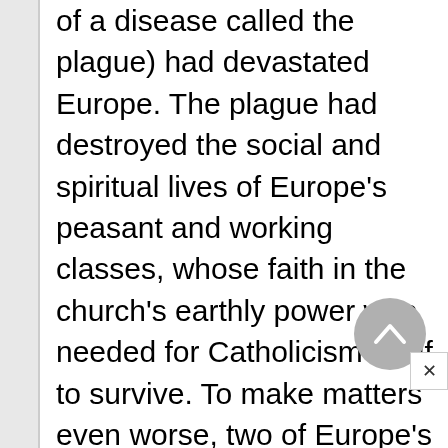of a disease called the plague) had devastated Europe. The plague had destroyed the social and spiritual lives of Europe's peasant and working classes, whose faith in the church's earthly power was needed for Catholicism itself to survive. To make matters even worse, two of Europe's great political and religious powers, France and England, were engaged in the Hundred Years' War, which brought further turmoil. Indeed, it seemed to many in Christendom (the